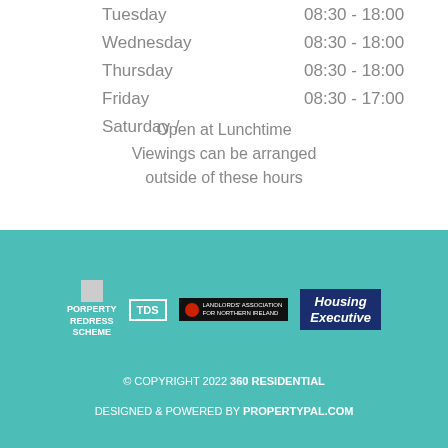Tuesday    08:30 - 18:00
Wednesday    08:30 - 18:00
Thursday    08:30 - 18:00
Friday    08:30 - 17:00
Saturday /
Open at Lunchtime
Viewings can be arranged outside of these hours
[Figure (logo): PORPERTY REDRESS SCHEME logo]
[Figure (logo): TDS logo]
[Figure (logo): Landlord Association for Northern Ireland logo]
[Figure (logo): Housing Executive logo]
© COPYRIGHT 2022 360 RESIDENTIAL
DESIGNED & POWERED BY PROPERTYPAL.COM